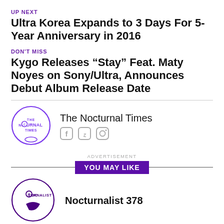UP NEXT
Ultra Korea Expands to 3 Days For 5-Year Anniversary in 2016
DON'T MISS
Kygo Releases “Stay” Feat. Maty Noyes on Sony/Ultra, Announces Debut Album Release Date
[Figure (logo): The Nocturnal Times circular logo with purple text]
The Nocturnal Times
[Figure (infographic): Social media icons: Facebook, Twitter, Instagram]
ADVERTISEMENT
YOU MAY LIKE
[Figure (logo): Nocturnalist circular logo with purple text and crescent moon]
Nocturnalist 378